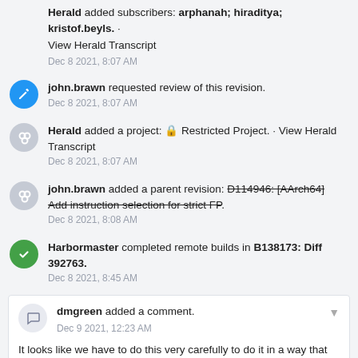Herald added subscribers: arphanah; hiraditya; kristof.beyls. · View Herald Transcript
Dec 8 2021, 8:07 AM
john.brawn requested review of this revision.
Dec 8 2021, 8:07 AM
Herald added a project: Restricted Project. · View Herald Transcript
Dec 8 2021, 8:07 AM
john.brawn added a parent revision: D114946: [AArch64] Add instruction selection for strict FP.
Dec 8 2021, 8:08 AM
Harbormaster completed remote builds in B138173: Diff 392763.
Dec 8 2021, 8:45 AM
dmgreen added a comment.
Dec 9 2021, 12:23 AM
It looks like we have to do this very carefully to do it in a way that